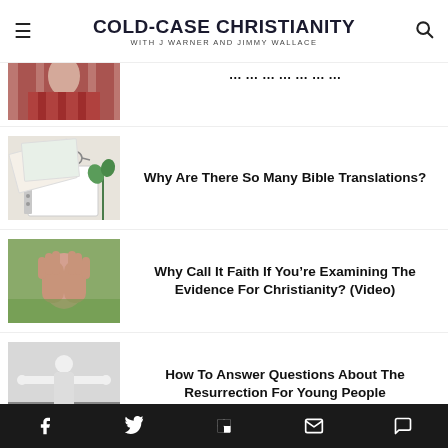COLD-CASE CHRISTIANITY WITH J WARNER AND JIMMY WALLACE
[Figure (photo): Partial thumbnail of woman in red plaid shirt, cropped at top]
[Figure (photo): Notebook, glasses, and papers on a white surface]
Why Are There So Many Bible Translations?
[Figure (photo): Hands clasped together in prayer outdoors]
Why Call It Faith If You’re Examining The Evidence For Christianity? (Video)
[Figure (photo): Black and white image of Jesus Christ statue with arms outstretched]
How To Answer Questions About The Resurrection For Young People
Facebook Twitter Flipboard Email Comment